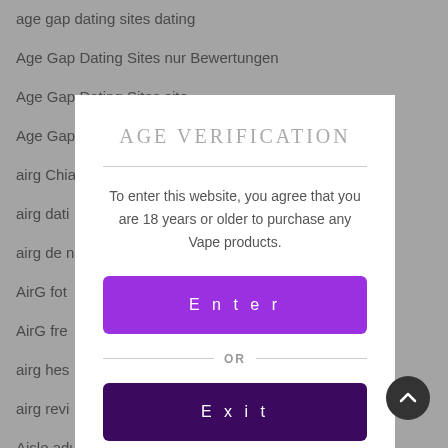age gap dating sites dating
Age Gap Dating Sites nur Bewertungen
Age Gap Dating Sites site
Age Gap
airg Chia
airg dati
airg de n
AirG fot
AirG fre
airg hes
airg revi
Aisle adu
aisle es
AGE VERIFICATION
To enter this website, you agree that you are 18 years or older to purchase any Vape products.
Enter
OR
Exit